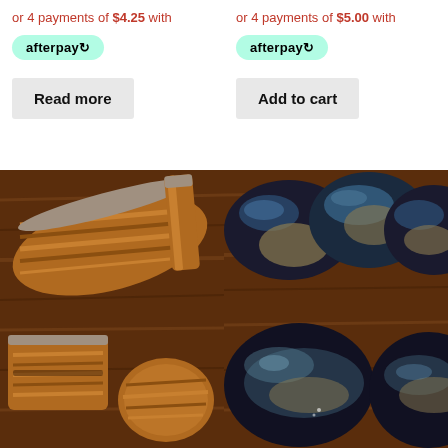or 4 payments of $4.25 with afterpay
or 4 payments of $5.00 with afterpay
Read more
Add to cart
[Figure (photo): Tiger eye raw mineral stones on dark wood background]
[Figure (photo): Polished dark blue/grey tumbled stones on dark wood background]